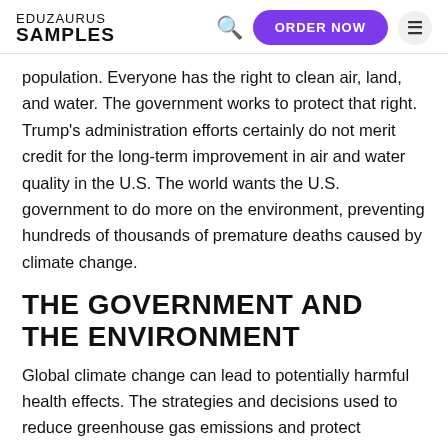EDUZAURUS SAMPLES
population. Everyone has the right to clean air, land, and water. The government works to protect that right. Trump’s administration efforts certainly do not merit credit for the long-term improvement in air and water quality in the U.S. The world wants the U.S. government to do more on the environment, preventing hundreds of thousands of premature deaths caused by climate change.
THE GOVERNMENT AND THE ENVIRONMENT
Global climate change can lead to potentially harmful health effects. The strategies and decisions used to reduce greenhouse gas emissions and protect communities from climate effects are crucial to prevent health problems. U.S and China, the world’s biggest climate polluters must reduce greenhouse gas emission. It’s important to learn the history…